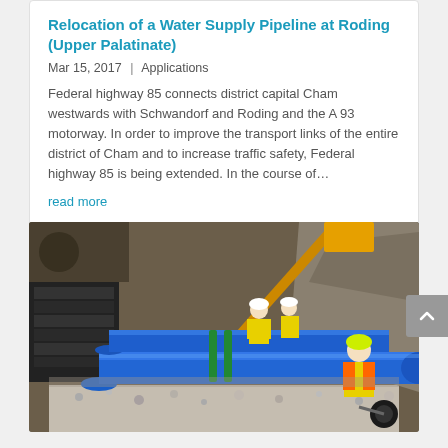Relocation of a Water Supply Pipeline at Roding (Upper Palatinate)
Mar 15, 2017 | Applications
Federal highway 85 connects district capital Cham westwards with Schwandorf and Roding and the A 93 motorway. In order to improve the transport links of the entire district of Cham and to increase traffic safety, Federal highway 85 is being extended. In the course of...
read more
[Figure (photo): Construction site photo showing workers in high-visibility vests and hard hats laying large blue water supply pipes in an excavated trench lined with gravel, with an excavator visible in the background.]